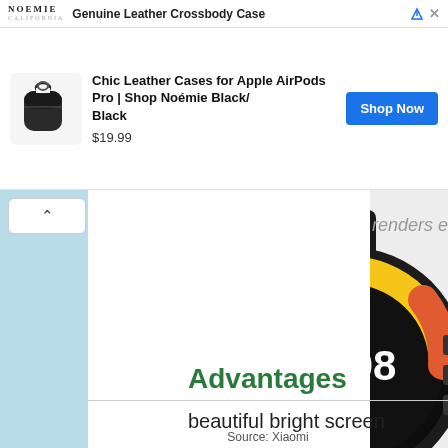[Figure (screenshot): Ad banner: NOEMIE CALIFORNIA logo, 'Genuine Leather Crossbody Case' headline, blue arrow and X icons]
[Figure (screenshot): Ad product card: AirPods Pro black leather case image, product title 'Chic Leather Cases for Apple AirPods Pro | Shop Noémie Black/Black', price $19.99, blue Shop Now button]
[Figure (photo): Xiaomi smartwatch with black case showing colorful watch face with yellow arc, time 08:16, TUE day, on light gray background]
Source: Xiaomi
Advantages
beautiful bright screen